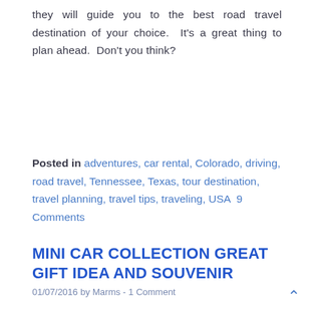they will guide you to the best road travel destination of your choice.  It's a great thing to plan ahead.  Don't you think?
Posted in adventures, car rental, Colorado, driving, road travel, Tennessee, Texas, tour destination, travel planning, travel tips, traveling, USA  9 Comments
MINI CAR COLLECTION GREAT GIFT IDEA AND SOUVENIR
01/07/2016 by Marms - 1 Comment